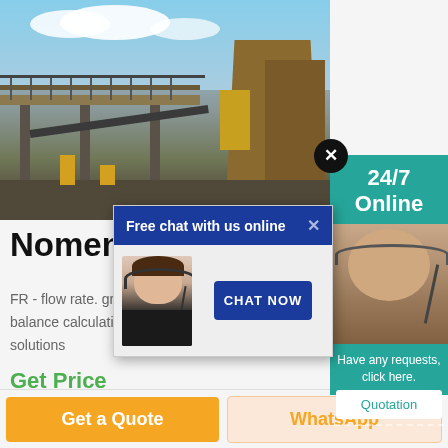[Figure (photo): Industrial mining or crushing plant facility with metal scaffolding, conveyor belts, and large processing equipment against a cloudy sky]
Nomenc
FR - flow rate. grinding rolls. MBC - mass balance calculation. M process engineering solutions
Get Price
[Figure (screenshot): Chat popup overlay with blue header 'Free chat with us online', X close button, customer service agent photo, and CHAT NOW button]
[Figure (screenshot): Right side panel showing 24/7 Online badge with X close circle, agent photo, 'Have any requests, click here.' text, and Quotation button]
Get a Quote
WhatsApp